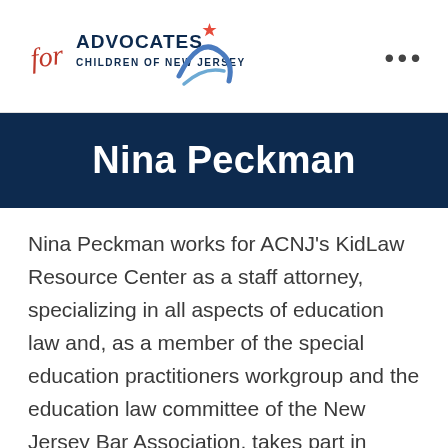[Figure (logo): Advocates for Children of New Jersey logo with red script 'for', blue bold 'ADVOCATES', and stylized figure with star]
Nina Peckman
Nina Peckman works for ACNJ's KidLaw Resource Center as a staff attorney, specializing in all aspects of education law and, as a member of the special education practitioners workgroup and the education law committee of the New Jersey Bar Association, takes part in education policy agendas. Fluent